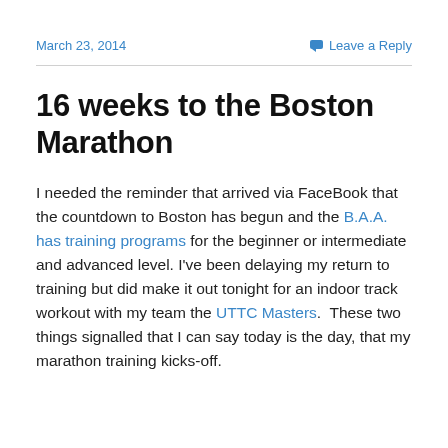March 23, 2014
Leave a Reply
16 weeks to the Boston Marathon
I needed the reminder that arrived via FaceBook that the countdown to Boston has begun and the B.A.A. has training programs for the beginner or intermediate and advanced level. I’ve been delaying my return to training but did make it out tonight for an indoor track workout with my team the UTTC Masters.  These two things signalled that I can say today is the day, that my marathon training kicks-off.